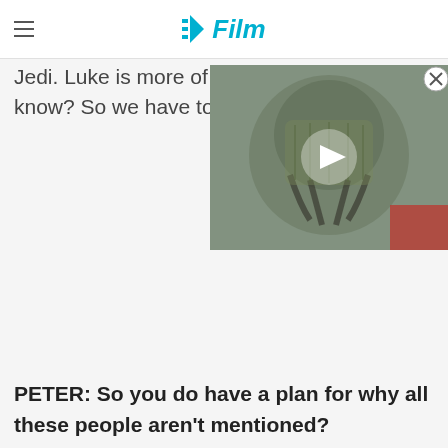/Film
Jedi.  Luke is more of a kind know?  So we have to deal w
[Figure (screenshot): Video player overlay showing a creature/alien character with armored appearance, with a play button triangle in the center. There is an X close button in the top right corner.]
PETER: So you do have a plan for why all these people aren't mentioned?